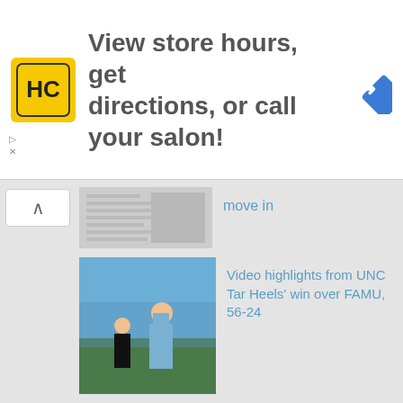[Figure (infographic): Advertisement banner: HC logo (yellow square with HC text), large text 'View store hours, get directions, or call your salon!', blue diamond navigation icon on right]
move in
Video highlights from UNC Tar Heels' win over FAMU, 56-24
Thales Academy expanding with new campuses in Pittsboro and Cary
Field at Kenan Memorial Stadium to be named the Chris Smith Field